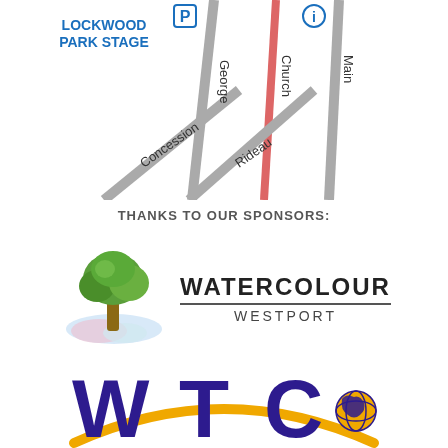[Figure (map): Street map showing Lockwood Park Stage location with roads: George, Church, Main, Concession, Rideau. Includes parking symbol (P) and information symbol (i).]
THANKS TO OUR SPONSORS:
[Figure (logo): Watercolour Westport logo with a colourful tree illustration and the text WATERCOLOUR WESTPORT]
[Figure (logo): WTC logo in large purple letters with a gold arc and globe icon]